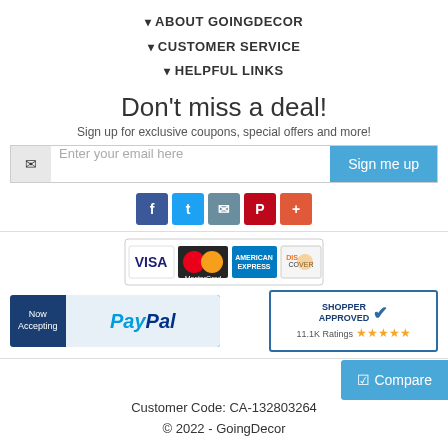▾ ABOUT GOINGDECOR
▾ CUSTOMER SERVICE
▾ HELPFUL LINKS
Don't miss a deal!
Sign up for exclusive coupons, special offers and more!
Enter your email here
[Figure (logo): Credit card logos: Visa, MasterCard, American Express, Discover]
[Figure (logo): Now Accepting PayPal logo]
[Figure (logo): Shopper Approved badge with 11.1K Ratings and 5 stars]
[Figure (logo): Compare button with checkbox icon]
Customer Code: CA-132803264
© 2022 - GoingDecor